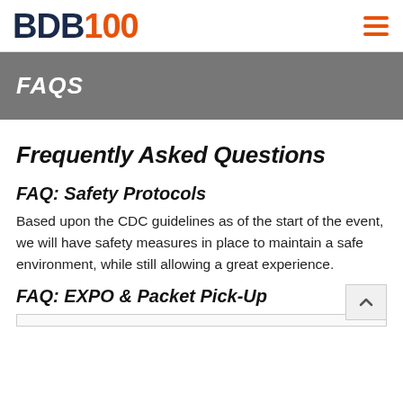BDB100
FAQS
Frequently Asked Questions
FAQ: Safety Protocols
Based upon the CDC guidelines as of the start of the event, we will have safety measures in place to maintain a safe environment, while still allowing a great experience.
FAQ: EXPO & Packet Pick-Up